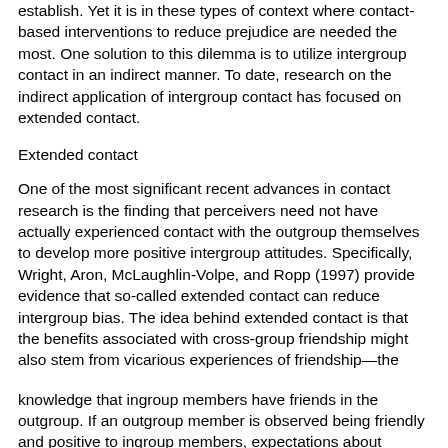establish. Yet it is in these types of context where contact-based interventions to reduce prejudice are needed the most. One solution to this dilemma is to utilize intergroup contact in an indirect manner. To date, research on the indirect application of intergroup contact has focused on extended contact.
Extended contact
One of the most significant recent advances in contact research is the finding that perceivers need not have actually experienced contact with the outgroup themselves to develop more positive intergroup attitudes. Specifically, Wright, Aron, McLaughlin-Volpe, and Ropp (1997) provide evidence that so-called extended contact can reduce intergroup bias. The idea behind extended contact is that the benefits associated with cross-group friendship might also stem from vicarious experiences of friendship—the
knowledge that ingroup members have friends in the outgroup. If an outgroup member is observed being friendly and positive to ingroup members, expectations about intergroup interactions may be